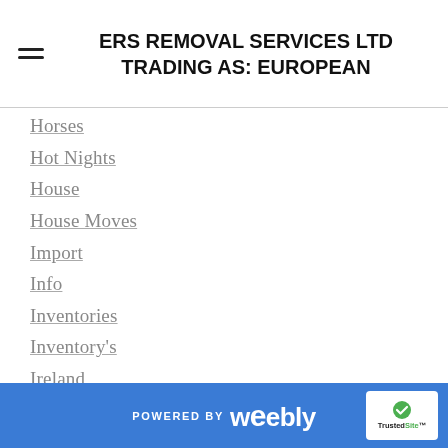ERS REMOVAL SERVICES LTD TRADING AS: EUROPEAN
Horses
Hot Nights
House
House Moves
Import
Info
Inventories
Inventory's
Ireland
Isle Of Lewis
Jaca
Joysofspain
Joys Of Spain
K9
POWERED BY weebly | TrustedSite